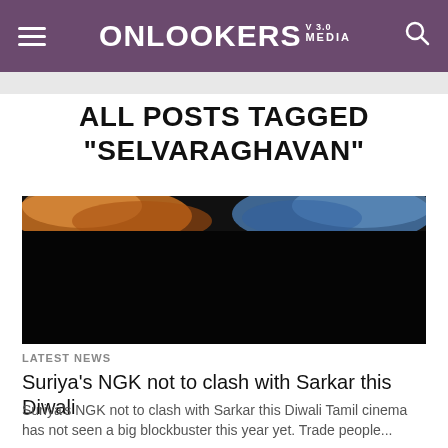ONLOOKERS MEDIA V 3.0
ALL POSTS TAGGED "SELVARAGHAVAN"
[Figure (photo): Movie promotional image with dark lower half and colorful smoke upper portion in orange and blue tones]
LATEST NEWS
Suriya's NGK not to clash with Sarkar this Diwali
Suriya's NGK not to clash with Sarkar this Diwali Tamil cinema has not seen a big blockbuster this year yet. Trade people...